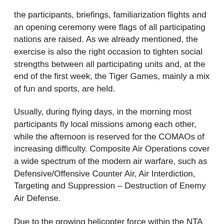the participants, briefings, familiarization flights and an opening ceremony were flags of all participating nations are raised. As we already mentioned, the exercise is also the right occasion to tighten social strengths between all participating units and, at the end of the first week, the Tiger Games, mainly a mix of fun and sports, are held.
Usually, during flying days, in the morning most participants fly local missions among each other, while the afternoon is reserved for the COMAOs of increasing difficulty. Composite Air Operations cover a wide spectrum of the modern air warfare, such as Defensive/Offensive Counter Air, Air Interdiction, Targeting and Suppression – Destruction of Enemy Air Defense.
Due to the growing helicopter force within the NTA members and their heavy use in today's conflicts, they are integrated within the COMAO mission as insertion and extraction of ground forces, support of special ops, Combat Search And Rescue and so on. Among the helicopters involved in these